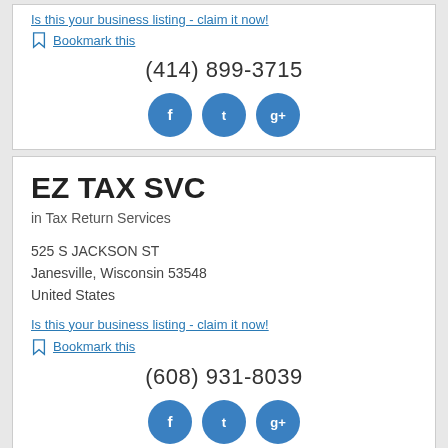Is this your business listing - claim it now!
Bookmark this
(414) 899-3715
[Figure (infographic): Social media icons: Facebook, Twitter, Google+]
EZ TAX SVC
in Tax Return Services
525 S JACKSON ST
Janesville, Wisconsin 53548
United States
Is this your business listing - claim it now!
Bookmark this
(608) 931-8039
[Figure (infographic): Social media icons: Facebook, Twitter, Google+]